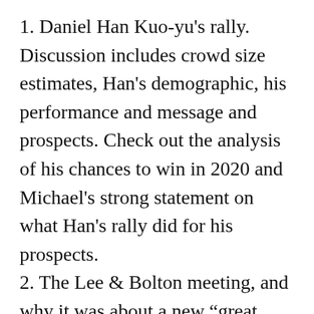1. Daniel Han Kuo-yu’s rally. Discussion includes crowd size estimates, Han’s demographic, his performance and message and prospects. Check out the analysis of his chances to win in 2020 and Michael’s strong statement on what Han’s rally did for his prospects.
2. The Lee & Bolton meeting, and why it was about a new “great game” in Oceania–something the press seems to have totally missed but Donovan somehow managed to notice.
3. Economic prospects for Taiwan, including some historical context from Michael on the difficulties of reviving the 1980’s boom that Han and Kuo are nostagically claiming they can